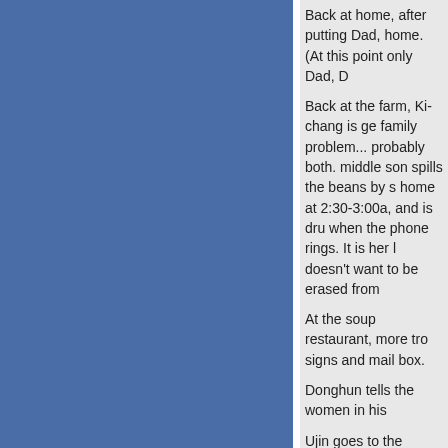Back at home, after putting Dad, home. (At this point only Dad, D
Back at the farm, Ki-chang is ge family problem... probably both. middle son spills the beans by s home at 2:30-3:00a, and is dru when the phone rings. It is her l doesn't want to be erased from
At the soup restaurant, more tro signs and mail box.
Donghun tells the women in his
Ujin goes to the church looking Uncle is busy conducting mass Yunhui entering the church. He going out a side door. The epis trying to stop him from running Fadeout...
Last edited by nchristi, 7/25/2011,
7/24/2011, 7:10 pm
pali
Member

Registered: 08-2005
Posts: 1852
Quote
Re: K-Drama: 내조의 여왕 (My Love
Smoochie1, I could not agree w